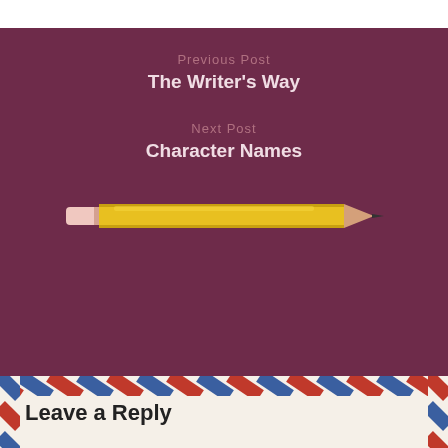Previous Post
The Writer's Way
Next Post
Character Names
[Figure (illustration): A yellow pencil illustration, horizontal orientation, with pink eraser on left and dark tip on right]
Leave a Reply
Your email address will not be published. Required fields are marked *